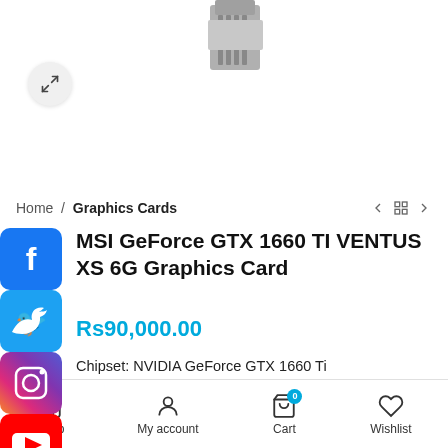[Figure (photo): Partial GPU graphics card silhouette visible at top of page]
Home / Graphics Cards
MSI GeForce GTX 1660 TI VENTUS XS 6G Graphics Card
Rs90,000.00
Chipset: NVIDIA GeForce GTX 1660 Ti
Boost Clock: 1830 MHz; Core Clocks: 1770 MHz
Memory Interface: 192-bit
Video Memory: 6GB GDDR6
Output: DisplayPort x 3 (V1.4)/ HDMI 2.0B x 1
Shop   My account   Cart 0   Wishlist